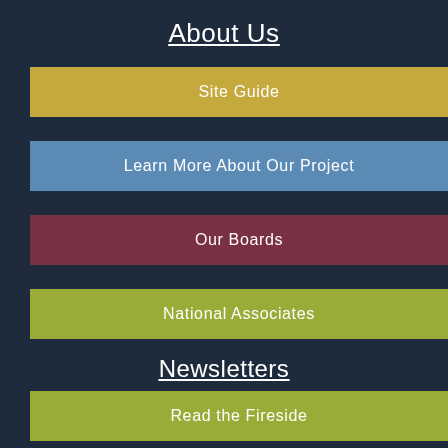About Us
Site Guide
Learn More About Our Project
Our Boards
National Associates
Newsletters
Read the Fireside
Get the Lowdown